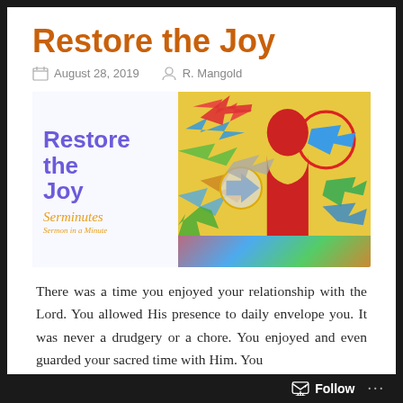Restore the Joy
August 28, 2019   R. Mangold
[Figure (illustration): Blog post header image showing 'Restore the Joy' text in purple on the left with 'Serminutes - Sermon in a Minute' branding below it, and on the right a red faceless mannequin head surrounded by colorful directional arrows pointing in various directions, with a red circle containing a blue arrow prominent on the right side.]
There was a time you enjoyed your relationship with the Lord. You allowed His presence to daily envelope you. It was never a drudgery or a chore. You enjoyed and even guarded your sacred time with Him. You